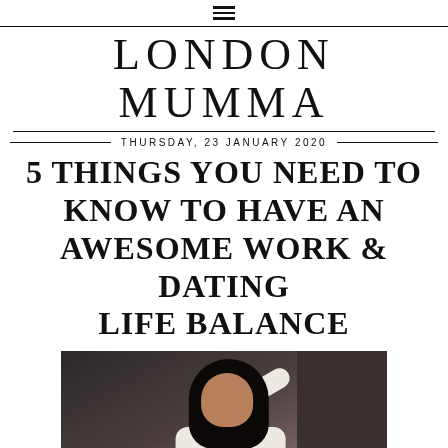LONDON MUMMA
THURSDAY, 23 JANUARY 2020
5 THINGS YOU NEED TO KNOW TO HAVE AN AWESOME WORK & DATING LIFE BALANCE
[Figure (photo): A young woman with dark hair wearing a white sweater, standing outdoors near a dark brick wall, looking to the side and touching her hair with one hand while holding what appears to be a cup in the other hand.]